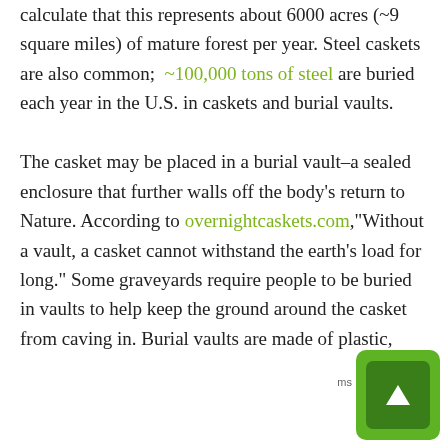calculate that this represents about 6000 acres (~9 square miles) of mature forest per year. Steel caskets are also common; ~100,000 tons of steel are buried each year in the U.S. in caskets and burial vaults.

The casket may be placed in a burial vault–a sealed enclosure that further walls off the body's return to Nature. According to overnightcaskets.com,"Without a vault, a casket cannot withstand the earth's load for long." Some graveyards require people to be buried in vaults to help keep the ground around the casket from caving in. Burial vaults are made of plastic,